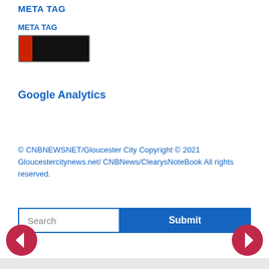META TAG
META TAG
[Figure (other): A small rectangular image with a red left portion and a black main area, resembling a color swatch or meta tag visual element]
Google Analytics
© CNBNEWSNET/Gloucester City Copyright © 2021 Gloucestercitynews.net/ CNBNews/ClearysNoteBook All rights reserved.
Search / Submit button UI element
[Figure (other): Left navigation arrow button (red circle with white left arrow)]
[Figure (other): Right navigation arrow button (red circle with white right arrow)]